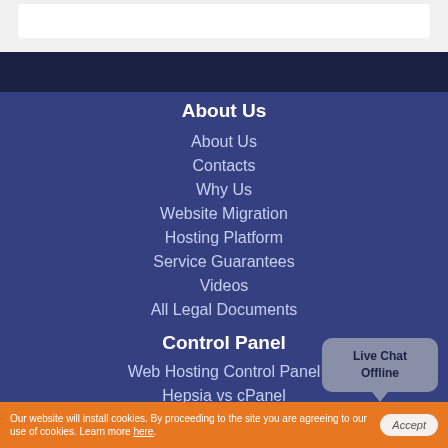About Us
About Us
Contacts
Why Us
Website Migration
Hosting Platform
Service Guarantees
Videos
All Legal Documents
Control Panel
Web Hosting Control Panel
Hepsia vs cPanel
Web Accelerators
Live Chat Offline
Our website will install cookies. By proceeding to the site you are agreeing to our use of cookies. Learn more here.